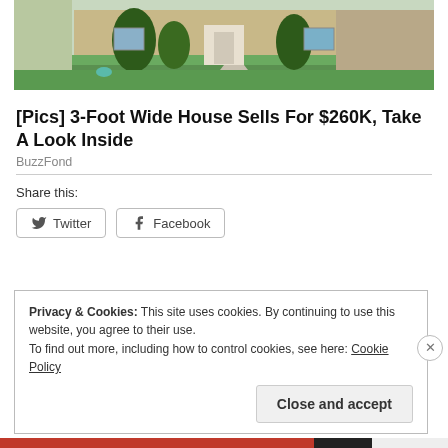[Figure (photo): Exterior photo of a suburban house with beige siding, green shrubs, lawn, and a walkway]
[Pics] 3-Foot Wide House Sells For $260K, Take A Look Inside
BuzzFond
Share this:
Twitter
Facebook
Privacy & Cookies: This site uses cookies. By continuing to use this website, you agree to their use.
To find out more, including how to control cookies, see here: Cookie Policy
Close and accept